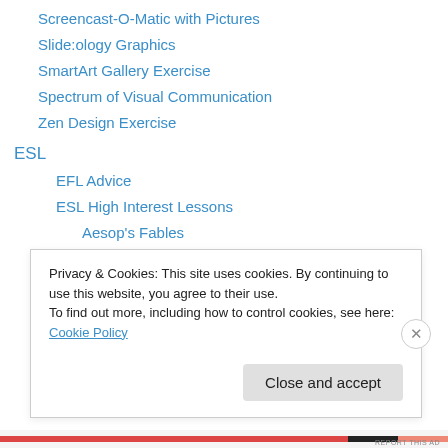Screencast-O-Matic with Pictures
Slide:ology Graphics
SmartArt Gallery Exercise
Spectrum of Visual Communication
Zen Design Exercise
ESL
EFL Advice
ESL High Interest Lessons
Aesop's Fables
Beatles – Yellow Submarine ESL Lesson
Beatles Songs
EVE vs. WALL-E
Fox Cowboy School
Privacy & Cookies: This site uses cookies. By continuing to use this website, you agree to their use.
To find out more, including how to control cookies, see here: Cookie Policy